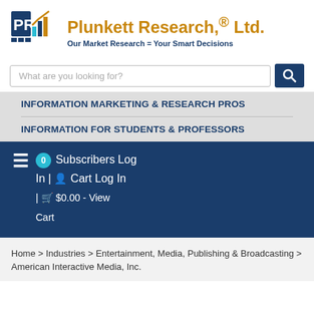[Figure (logo): Plunkett Research Ltd logo — blue PR letters with bar chart graphic]
Plunkett Research,® Ltd.
Our Market Research = Your Smart Decisions
What are you looking for?
INFORMATION MARKETING & RESEARCH PROS
INFORMATION FOR STUDENTS & PROFESSORS
0 Subscribers Log In | Cart Log In | $0.00 - View Cart
Home > Industries > Entertainment, Media, Publishing & Broadcasting > American Interactive Media, Inc.